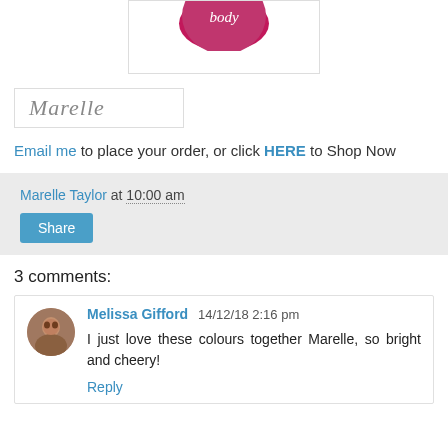[Figure (illustration): Partial pink circle logo with cursive/script text, shown at top center in a white bordered box]
[Figure (illustration): Cursive signature reading 'Marelle' in gray script font, inside a light-bordered white box]
Email me to place your order, or click HERE to Shop Now
Marelle Taylor at 10:00 am
Share
3 comments:
Melissa Gifford 14/12/18 2:16 pm
I just love these colours together Marelle, so bright and cheery!
Reply